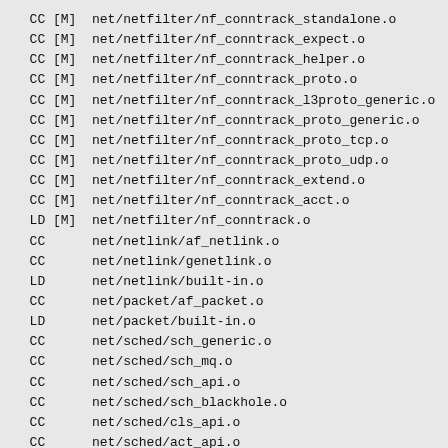CC [M]  net/netfilter/nf_conntrack_standalone.o
  CC [M]  net/netfilter/nf_conntrack_expect.o
  CC [M]  net/netfilter/nf_conntrack_helper.o
  CC [M]  net/netfilter/nf_conntrack_proto.o
  CC [M]  net/netfilter/nf_conntrack_l3proto_generic.o
  CC [M]  net/netfilter/nf_conntrack_proto_generic.o
  CC [M]  net/netfilter/nf_conntrack_proto_tcp.o
  CC [M]  net/netfilter/nf_conntrack_proto_udp.o
  CC [M]  net/netfilter/nf_conntrack_extend.o
  CC [M]  net/netfilter/nf_conntrack_acct.o
  LD [M]  net/netfilter/nf_conntrack.o
  CC      net/netlink/af_netlink.o
  CC      net/netlink/genetlink.o
  LD      net/netlink/built-in.o
  CC      net/packet/af_packet.o
  LD      net/packet/built-in.o
  CC      net/sched/sch_generic.o
  CC      net/sched/sch_mq.o
  CC      net/sched/sch_api.o
  CC      net/sched/sch_blackhole.o
  CC      net/sched/cls_api.o
  CC      net/sched/act_api.o
  CC      net/sched/act_police.o
  CC      net/sched/sch_fifo.o
  CC      net/sched/sch_multiq.o
  LD      net/sched/built-in.o
  CC [M]  net/sched/act_nat.o